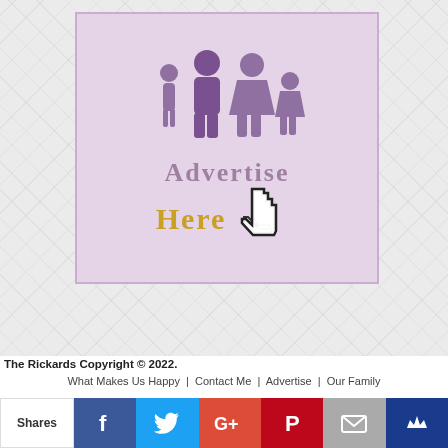[Figure (illustration): Advertisement placeholder box with purple/lavender background showing family silhouettes (man, woman, child, small girl) and text 'Advertise Here' with a cursor/hand pointer icon]
The Rickards Copyright © 2022.
What Makes Us Happy  |  Contact Me  |  Advertise  |  Our Family
[Figure (infographic): Social sharing bar with Shares label and buttons: Facebook (f), Twitter (bird), Google+ (G+), Pinterest (P), Email (envelope), Crown icon]